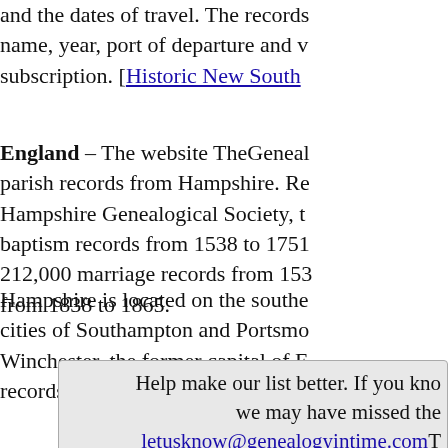and the dates of travel. The records name, year, port of departure and w subscription. [Historic New South
England – The website TheGeneal parish records from Hampshire. Re Hampshire Genealogical Society, t baptism records from 1538 to 1751 212,000 marriage records from 153 from 1838 to 1865.
Hampshire is located on the southe cities of Southampton and Portsmo Winchester, the former capital of E records is by subscription. [Hamps
Help make our list better. If you kno we may have missed the letusknow@genealogyintime.comT anywhere in the world and in any la records i